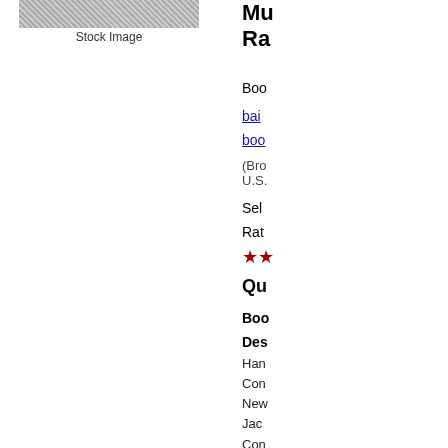[Figure (photo): Stock image placeholder with crosshatch pattern]
Stock Image
Mu
Ra
Boo
bai
boo
(Bro
U.S.
Sel
Rat
★★
Qu
Boo
Des
Han
Con
New
Jac
Con
New
Lan
eng
Lan
eng
Lan